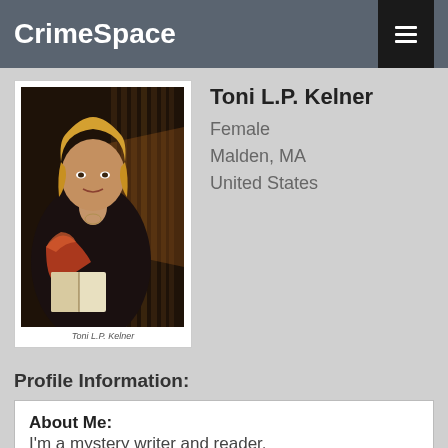CrimeSpace
[Figure (photo): Profile photo of Toni L.P. Kelner — a woman with blonde hair reading a book, with caption 'Toni L.P. Kelner']
Toni L.P. Kelner
Female
Malden, MA
United States
Profile Information:
About Me:
I'm a mystery writer and reader.
I Am A:
Reader, Writer
Website:
http://www.tonilpkelner.com
Books And Authors I Like:
Charlaine Harris